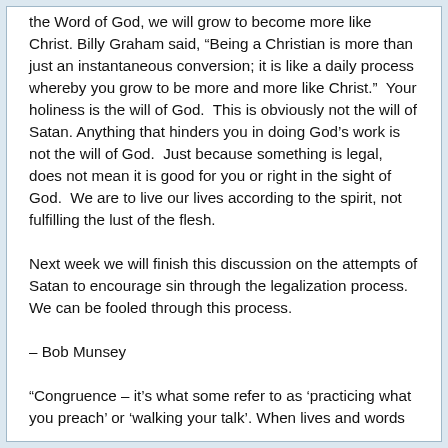the Word of God, we will grow to become more like Christ. Billy Graham said, “Being a Christian is more than just an instantaneous conversion; it is like a daily process whereby you grow to be more and more like Christ.”  Your holiness is the will of God.  This is obviously not the will of Satan.  Anything that hinders you in doing God’s work is not the will of God.  Just because something is legal, does not mean it is good for you or right in the sight of God.  We are to live our lives according to the spirit, not fulfilling the lust of the flesh.
Next week we will finish this discussion on the attempts of Satan to encourage sin through the legalization process.  We can be fooled through this process.
– Bob Munsey
“Congruence – it’s what some refer to as ‘practicing what you preach’ or ‘walking your talk’. When lives and words